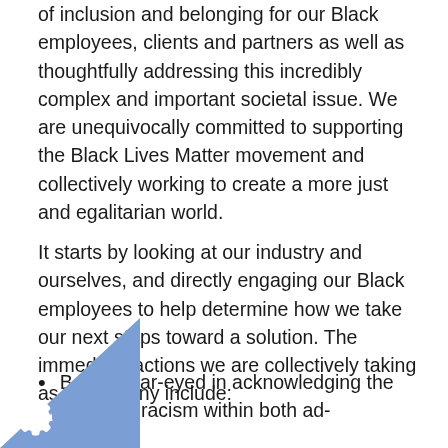of inclusion and belonging for our Black employees, clients and partners as well as thoughtfully addressing this incredibly complex and important societal issue. We are unequivocally committed to supporting the Black Lives Matter movement and collectively working to create a more just and egalitarian world.
It starts by looking at our industry and ourselves, and directly engaging our Black employees to help determine how we take our next steps toward a solution. The immediate actions we are collectively taking as a company include:
Being clear-eyed in acknowledging the systemic racism within both ad-